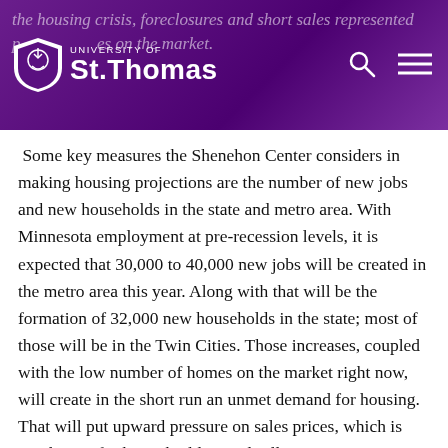the housing crisis, foreclosures and short sales represented p... homes on the market. [University of St. Thomas logo]
Some key measures the Shenehon Center considers in making housing projections are the number of new jobs and new households in the state and metro area. With Minnesota employment at pre-recession levels, it is expected that 30,000 to 40,000 new jobs will be created in the metro area this year. Along with that will be the formation of 32,000 new households in the state; most of those will be in the Twin Cities. Those increases, coupled with the low number of homes on the market right now, will create in the short run an unmet demand for housing. That will put upward pressure on sales prices, which is good news for home builders and sellers. Mortgage interest rates are expected to increase modestly this year but they will still be historically very low and should not have a major impact on housing.
According to the Keystone Report, the 5,110 permits issued for new single-family homes in the metro area last year was a 25.9